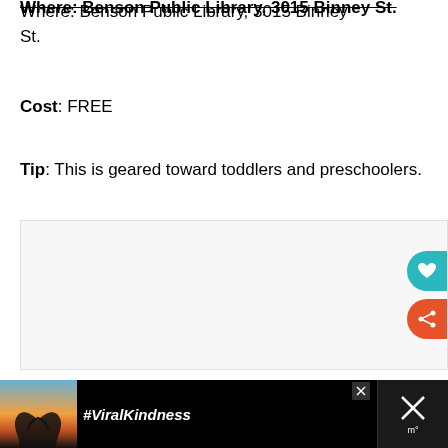Where: Benson Public Library, 3015 Binney St.
Cost: FREE
Tip: This is geared toward toddlers and preschoolers.
[Figure (screenshot): Light gray content box area with floating heart button (teal), share button (orange-red), and related widget showing '40+ Family-Friendly...' article thumbnail]
[Figure (photo): Advertisement banner at bottom: black background with silhouette of hands forming heart shape against sunset sky, text #ViralKindness in white, close button and X button on right]